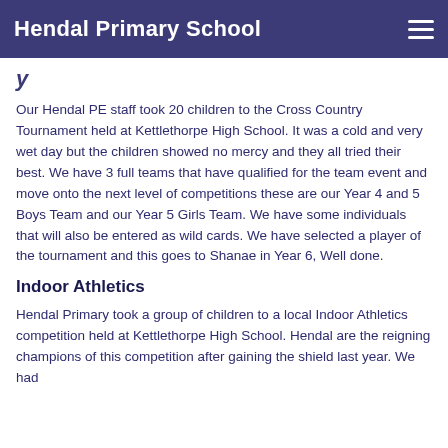Hendal Primary School
y
Our Hendal PE staff took 20 children to the Cross Country Tournament held at Kettlethorpe High School. It was a cold and very wet day but the children showed no mercy and they all tried their best. We have 3 full teams that have qualified for the team event and move onto the next level of competitions these are our Year 4 and 5 Boys Team and our Year 5 Girls Team. We have some individuals that will also be entered as wild cards. We have selected a player of the tournament and this goes to Shanae in Year 6, Well done.
Indoor Athletics
Hendal Primary took a group of children to a local Indoor Athletics competition held at Kettlethorpe High School. Hendal are the reigning champions of this competition after gaining the shield last year. We had